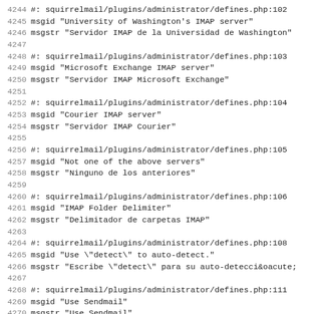4244 #: squirrelmail/plugins/administrator/defines.php:102
4245 msgid "University of Washington's IMAP server"
4246 msgstr "Servidor IMAP de la Universidad de Washington"
4247
4248 #: squirrelmail/plugins/administrator/defines.php:103
4249 msgid "Microsoft Exchange IMAP server"
4250 msgstr "Servidor IMAP Microsoft Exchange"
4251
4252 #: squirrelmail/plugins/administrator/defines.php:104
4253 msgid "Courier IMAP server"
4254 msgstr "Servidor IMAP Courier"
4255
4256 #: squirrelmail/plugins/administrator/defines.php:105
4257 msgid "Not one of the above servers"
4258 msgstr "Ninguno de los anteriores"
4259
4260 #: squirrelmail/plugins/administrator/defines.php:106
4261 msgid "IMAP Folder Delimiter"
4262 msgstr "Delimitador de carpetas IMAP"
4263
4264 #: squirrelmail/plugins/administrator/defines.php:108
4265 msgid "Use \"detect\" to auto-detect."
4266 msgstr "Escribe \"detect\" para su auto-detecci&oacute;
4267
4268 #: squirrelmail/plugins/administrator/defines.php:111
4269 msgid "Use Sendmail"
4270 msgstr "Use Sendmail"
4271
4272 #: squirrelmail/plugins/administrator/defines.php:113
4273 msgid "Sendmail Path"
4274 msgstr "Ubicaci&oacute;n de Sendmail"
4275